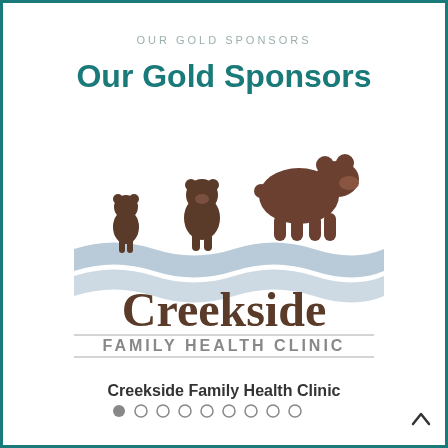OUR GOLD SPONSORS
Our Gold Sponsors
[Figure (logo): Creekside Family Health Clinic logo featuring three bears (two cubs and one adult) walking above a wavy creek/river graphic, with the text 'Creekside' in large brown serif font and 'FAMILY HEALTH CLINIC' in smaller gray letters below a horizontal rule]
Creekside Family Health Clinic
● ○ ○ ○ ○ ○ ○ ○ ○